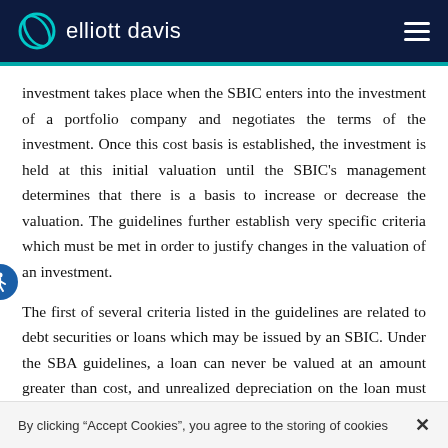elliott davis
investment takes place when the SBIC enters into the investment of a portfolio company and negotiates the terms of the investment. Once this cost basis is established, the investment is held at this initial valuation until the SBIC's management determines that there is a basis to increase or decrease the valuation. The guidelines further establish very specific criteria which must be met in order to justify changes in the valuation of an investment.
The first of several criteria listed in the guidelines are related to debt securities or loans which may be issued by an SBIC. Under the SBA guidelines, a loan can never be valued at an amount greater than cost, and unrealized depreciation on the loan must be recognized if the value is
By clicking "Accept Cookies", you agree to the storing of cookies